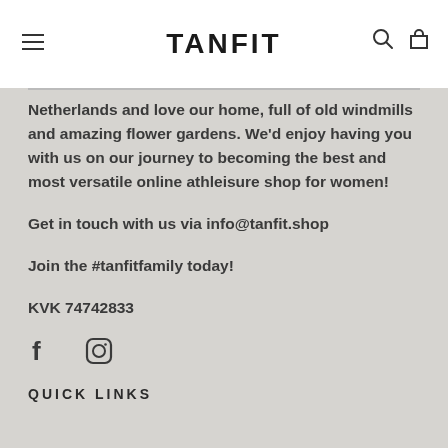TANFIT
Netherlands and love our home, full of old windmills and amazing flower gardens. We'd enjoy having you with us on our journey to becoming the best and most versatile online athleisure shop for women!
Get in touch with us via info@tanfit.shop
Join the #tanfitfamily today!
KVK 74742833
[Figure (logo): Facebook and Instagram social media icons]
QUICK LINKS